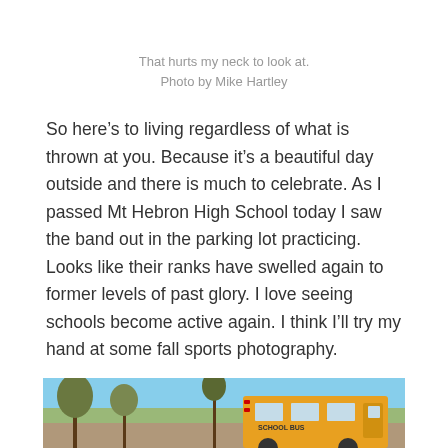That hurts my neck to look at.
Photo by Mike Hartley
So here’s to living regardless of what is thrown at you. Because it’s a beautiful day outside and there is much to celebrate. As I passed Mt Hebron High School today I saw the band out in the parking lot practicing. Looks like their ranks have swelled again to former levels of past glory. I love seeing schools become active again. I think I’ll try my hand at some fall sports photography.
Speaking of which ::::: STOP when the buses RED LIGHTS ARE FLASHING YOU FOOLS.
[Figure (photo): Bottom strip of a photo showing a school bus and trees against a blue sky background]